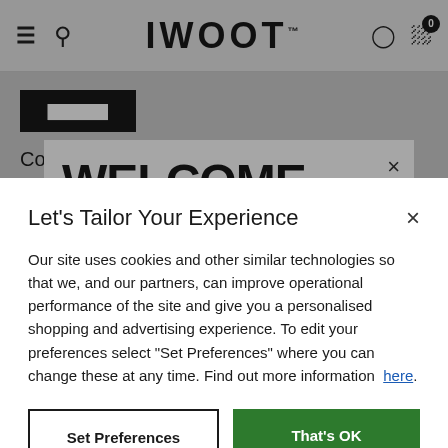IWOOT™ navigation bar with hamburger menu, search, user icon, and cart (0)
Connect with us
WELCOME
Let's Tailor Your Experience
Our site uses cookies and other similar technologies so that we, and our partners, can improve operational performance of the site and give you a personalised shopping and advertising experience. To edit your preferences select "Set Preferences" where you can change these at any time. Find out more information here.
Set Preferences
That's OK